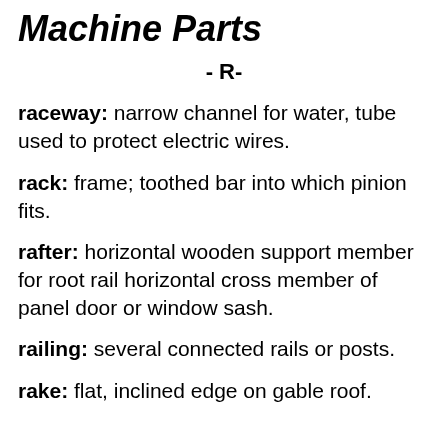Machine Parts
- R-
raceway: narrow channel for water, tube used to protect electric wires.
rack: frame; toothed bar into which pinion fits.
rafter: horizontal wooden support member for root rail horizontal cross member of panel door or window sash.
railing: several connected rails or posts.
rake: flat, inclined edge on gable roof.